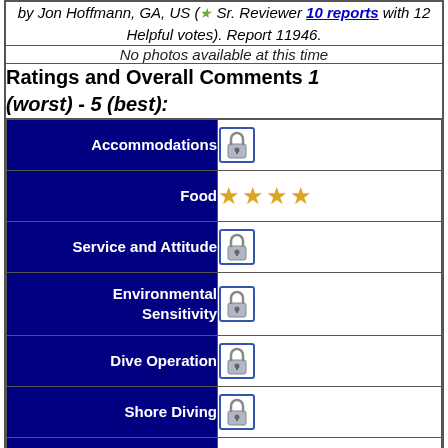by Jon Hoffmann, GA, US (★ Sr. Reviewer 10 reports with 12 Helpful votes). Report 11946.
No photos available at this time
Ratings and Overall Comments 1 (worst) - 5 (best):
| Category | Rating |
| --- | --- |
| Accommodations | [lock] |
| Food | ★★★★ |
| Service and Attitude | [lock] |
| Environmental Sensitivity | [lock] |
| Dive Operation | [lock] |
| Shore Diving | [lock] |